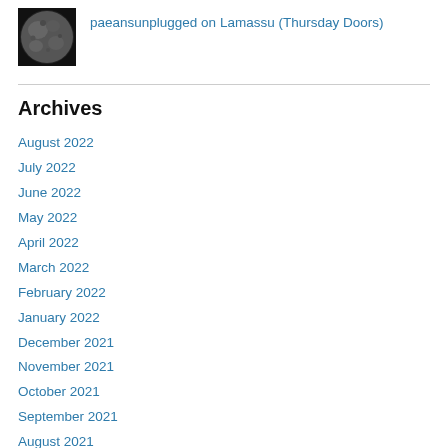[Figure (photo): Circular avatar image showing a moon photo with dark background]
paeansunplugged on Lamassu (Thursday Doors)
Archives
August 2022
July 2022
June 2022
May 2022
April 2022
March 2022
February 2022
January 2022
December 2021
November 2021
October 2021
September 2021
August 2021
July 2021